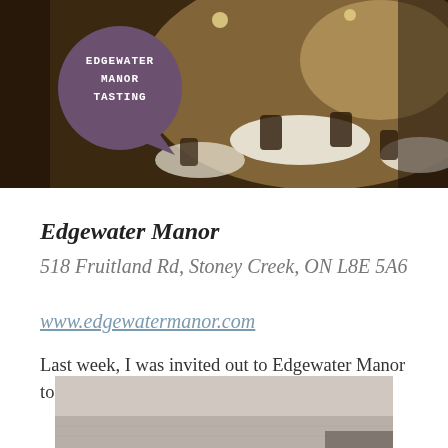[Figure (photo): Interior of Edgewater Manor restaurant with elegant dining tables set with white tablecloths, ornate chairs, and dark wood decor. A speech bubble overlay reads 'EDGEWATER MANOR TASTING' in capital letters.]
Edgewater Manor
518 Fruitland Rd, Stoney Creek, ON L8E 5A6
www.edgewatermanor.com
Last week, I was invited out to Edgewater Manor to try their new monthly tasting menu.
[Figure (photo): Partial view of what appears to be a table or surface, light grey tones, bottom portion of the page.]